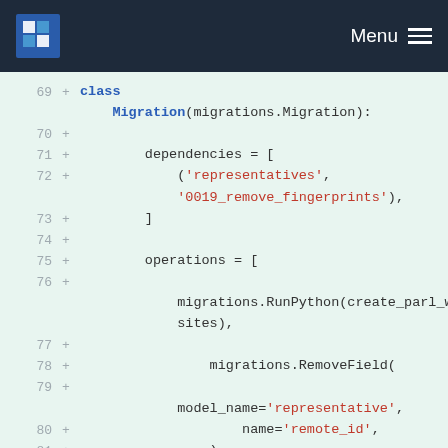Menu navigation bar with logo
[Figure (screenshot): Code diff viewer showing Python Django migration file. Lines 69-83 visible with + markers indicating additions. Code includes a Migration class with dependencies and operations including RunPython, RemoveField, and AlterField calls.]